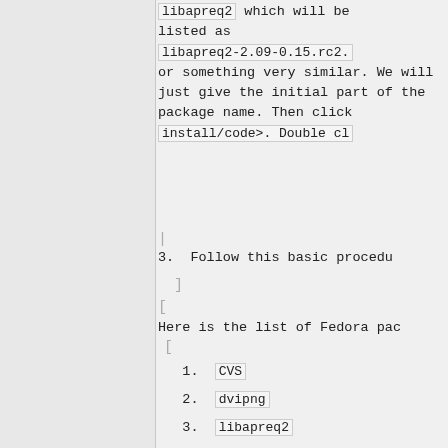libapreq2 which will be listed as libapreq2-2.09-0.15.rc2. or something very similar. We will just give the initial part of the package name. Then click install/code>. Double cl
3.  Follow this basic procedu
Here is the list of Fedora pac
1. CVS
2. dvipng
3. libapreq2
4. make